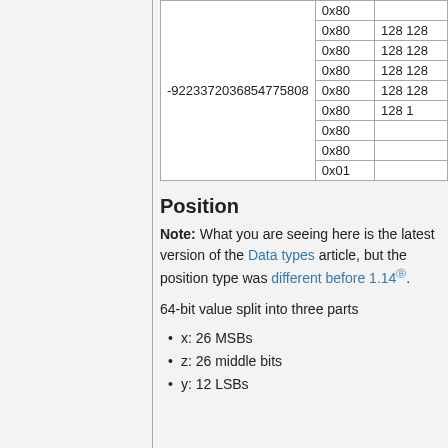| Value | Encoding | Decoded |
| --- | --- | --- |
|  | 0x80 |  |
|  | 0x80 | 128 128 |
|  | 0x80 | 128 128 |
| -9223372036854775808 | 0x80 | 128 128 |
|  | 0x80 | 128 128 |
|  | 0x80 | 128 1 |
|  | 0x80 |  |
|  | 0x80 |  |
|  | 0x01 |  |
Position
Note: What you are seeing here is the latest version of the Data types article, but the position type was different before 1.14ⓔ.
64-bit value split into three parts
x: 26 MSBs
z: 26 middle bits
y: 12 LSBs